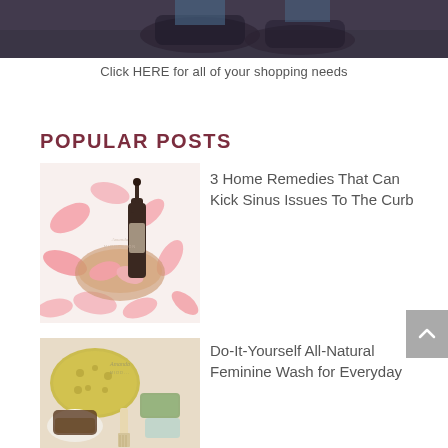[Figure (photo): Partial top image showing dark background, possibly feet or boots on a textured surface]
Click HERE for all of your shopping needs
POPULAR POSTS
[Figure (photo): Pink rose petals scattered around a dark glass dropper bottle with a brand watermark reading Amanda Middleton]
3 Home Remedies That Can Kick Sinus Issues To The Curb
[Figure (photo): Natural bath sponges, a brush, soap and grooming products with Amanda Middleton watermark]
Do-It-Yourself All-Natural Feminine Wash for Everyday